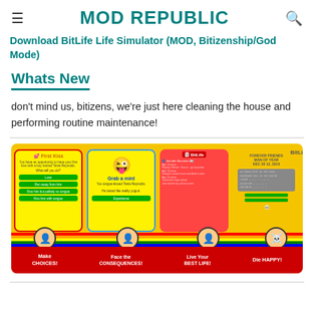MOD REPUBLIC
Download BitLife Life Simulator (MOD, Bitizenship/God Mode)
Whats New
don't mind us, bitizens, we're just here cleaning the house and performing routine maintenance!
[Figure (screenshot): BitLife Life Simulator app screenshot showing four panels: 'Make CHOICES!', 'Face the CONSEQUENCES!', 'Live Your BEST LIFE!', 'Die HAPPY!' with rainbow bar and red bottom strip. A partial image labeled 'BitLi' is visible on the right edge.]